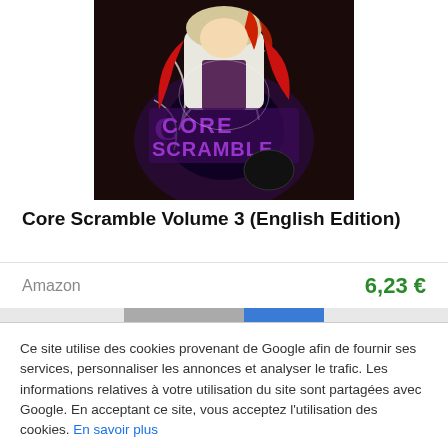[Figure (illustration): Manga cover art for Core Scramble Volume 3 showing an anime character in a white jacket with purple stylized text reading CORE SCRAMBLE]
Core Scramble Volume 3 (English Edition)
Amazon
6,23 €
Ce site utilise des cookies provenant de Google afin de fournir ses services, personnaliser les annonces et analyser le trafic. Les informations relatives à votre utilisation du site sont partagées avec Google. En acceptant ce site, vous acceptez l'utilisation des cookies. En savoir plus
Fermer ✕